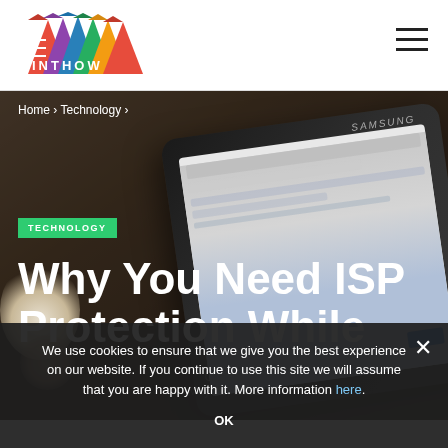INTHOW [logo] — navigation hamburger menu
Home › Technology ›
[Figure (photo): Background photo of a Samsung tablet/phone showing Google search, with a coffee cup in the foreground, dark moody background]
TECHNOLOGY
Why You Need ISP Protection While
We use cookies to ensure that we give you the best experience on our website. If you continue to use this site we will assume that you are happy with it. More information here.
OK